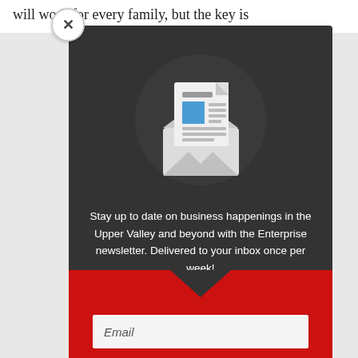will work for every family, but the key is
[Figure (illustration): Newsletter subscription modal popup with dark gray background, close (X) button in top-left, envelope icon with a document/newsletter emerging from it in the center, descriptive text, and a red bottom section with a downward chevron and an email input field.]
Stay up to date on business happenings in the Upper Valley and beyond with the Enterprise newsletter. Delivered to your inbox once per week!
Email